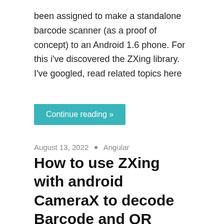been assigned to make a standalone barcode scanner (as a proof of concept) to an Android 1.6 phone. For this i've discovered the ZXing library. I've googled, read related topics here
Continue reading »
August 13, 2022 • Angular
How to use ZXing with android CameraX to decode Barcode and QR Codes
Issue How can I integrate ZXing library in order to use it with new Android Jetpack CameraX? I know that I've to build an ImageAnalyzer and inside it I've